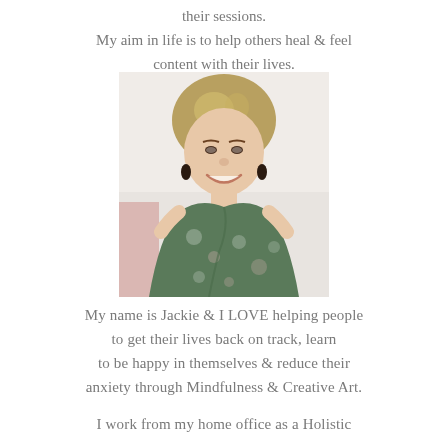their sessions.
My aim in life is to help others heal & feel
content with their lives.
[Figure (photo): Portrait photo of a smiling woman with short blonde hair wearing a green floral wrap dress and dark drop earrings, seated indoors]
My name is Jackie & I LOVE helping people
to get their lives back on track, learn
to be happy in themselves & reduce their
anxiety through Mindfulness & Creative Art.
I work from my home office as a Holistic